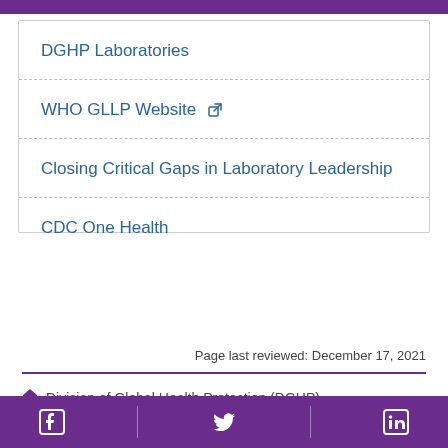DGHP Laboratories
WHO GLLP Website [external link]
Closing Critical Gaps in Laboratory Leadership
CDC One Health
Page last reviewed: December 17, 2021
Division of Global Health Protection (DGHP)
Areas We Strengthen